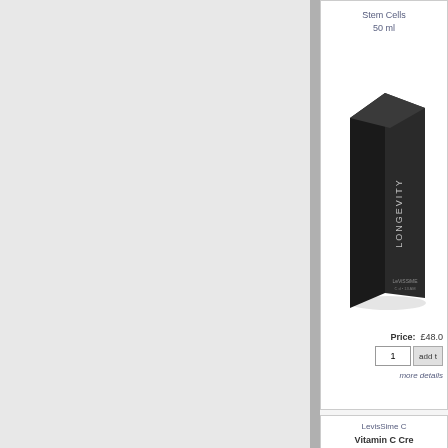[Figure (photo): Product listing page (cropped). Left panel is gray/empty. Right panel shows two product cards partially visible. Card 1: Longevity Stem Cells product in black box, 50ml, Price £48.00, quantity field with add to cart button, more details link. Card 2: LevisSime brand Vitamin C Cream, Moisturiser & Anti..., 50ml.]
Stem Cells
50 ml
Price:  £48.0
1
add t
more details
LevisSime C
Vitamin C Cre
Mosituriser & Anti
50 ml